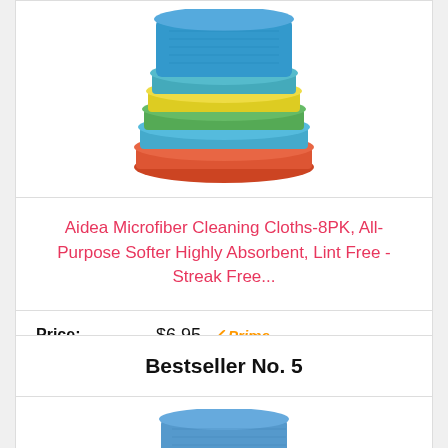[Figure (photo): Stack of colorful microfiber cleaning cloths in blue, green, yellow, teal, and orange/red colors]
Aidea Microfiber Cleaning Cloths-8PK, All-Purpose Softer Highly Absorbent, Lint Free - Streak Free...
Price: $6.95 ✓Prime
🛒 Buy on Amazon
Bestseller No. 5
[Figure (photo): Stack of blue microfiber cleaning cloths]